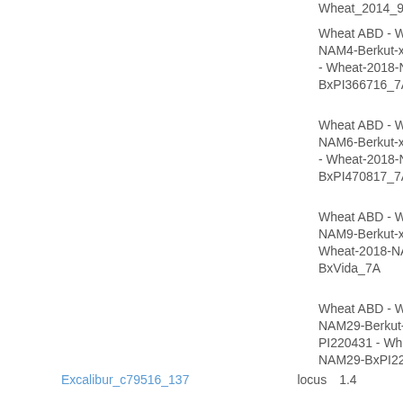Wheat_2014_90KSL...
Wheat ABD - Wheat NAM4-Berkut-x-PI366716 - Wheat-2018-NAM4-BxPI366716_7A
Wheat ABD - Wheat NAM6-Berkut-x-PI470817 - Wheat-2018-NAM6-BxPI470817_7A
Wheat ABD - Wheat NAM9-Berkut-x-Vida - Wheat-2018-NAM9-BxVida_7A
Wheat ABD - Wheat NAM29-Berkut-x-PI220431 - Wheat-2018-NAM29-BxPI220431
Wheat ABD - Wheat NAM2-Berkut-x-PI572692 - Wheat-2018-NAM2-BxPI572692_7A
Wheat ABD - Wheat NAM24-Berkut-x-PI192147 - Wheat-2018-NAM24-BxPI192147
Wheat ABD - Wheat...
Excalibur_c79516_137    locus  1.4